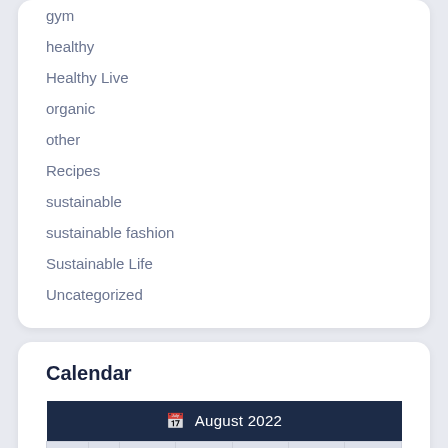gym
healthy
Healthy Live
organic
other
Recipes
sustainable
sustainable fashion
Sustainable Life
Uncategorized
Calendar
| M | T | W | T | F | S | S |
| --- | --- | --- | --- | --- | --- | --- |
| 1 | 2 | 3 | 4 | 5 | 6 | 7 |
| 8 | 9 | 10 | 11 | 12 | 13 | 14 |